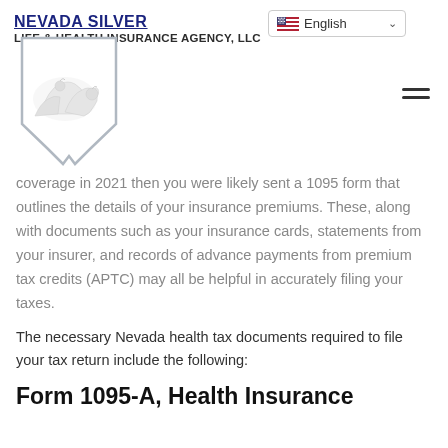NEVADA SILVER LIFE & HEALTH INSURANCE AGENCY, LLC
[Figure (logo): Nevada Silver Life & Health Insurance Agency LLC logo with Nevada state shield shape containing white horses on white background]
coverage in 2021 then you were likely sent a 1095 form that outlines the details of your insurance premiums. These, along with documents such as your insurance cards, statements from your insurer, and records of advance payments from premium tax credits (APTC) may all be helpful in accurately filing your taxes.
The necessary Nevada health tax documents required to file your tax return include the following:
Form 1095-A, Health Insurance